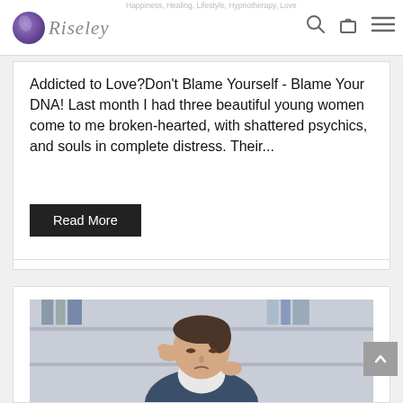Riseley — Happiness, Healing, Lifestyle, Hypnotherapy, Love
Addicted to Love?Don't Blame Yourself - Blame Your DNA! Last month I had three beautiful young women come to me broken-hearted, with shattered psychics, and souls in complete distress. Their...
Read More
[Figure (photo): Woman in business attire holding her head in her hands, appearing stressed, with bookshelves in the background]